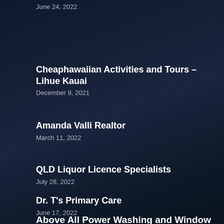June 24, 2022
Cheaphawaiian Activities and Tours – Lihue Kauai
December 9, 2021
Amanda Valli Realtor
March 11, 2022
QLD Liquor Licence Specialists
July 28, 2022
Dr. T's Primary Care
June 17, 2022
Above All Power Washing and Window Washing